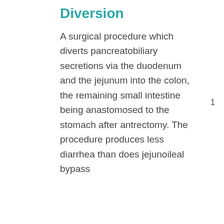Diversion
A surgical procedure which diverts pancreatobiliary secretions via the duodenum and the jejunum into the colon, the remaining small intestine being anastomosed to the stomach after antrectomy. The procedure produces less diarrhea than does jejunoileal bypass
1